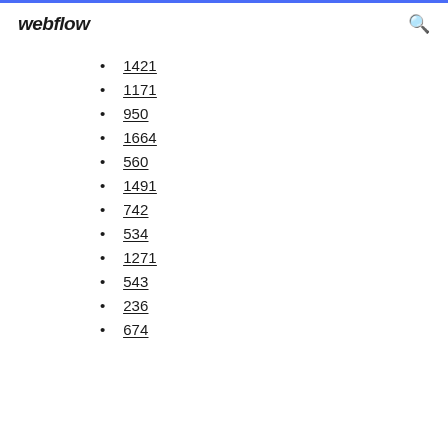webflow
1421
1171
950
1664
560
1491
742
534
1271
543
236
674